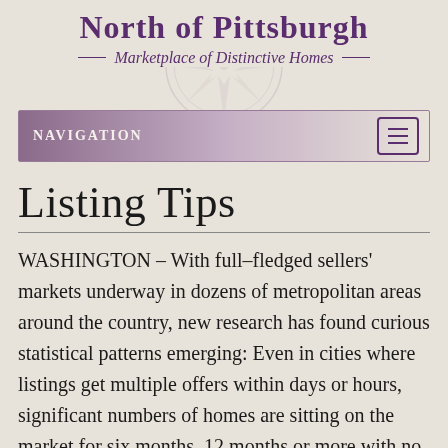North of Pittsburgh
— Marketplace of Distinctive Homes —
NAVIGATION
Listing Tips
WASHINGTON – With full–fledged sellers' markets underway in dozens of metropolitan areas around the country, new research has found curious statistical patterns emerging: Even in cities where listings get multiple offers within days or hours, significant numbers of homes are sitting on the market for six months, 12 months or more with no takers.